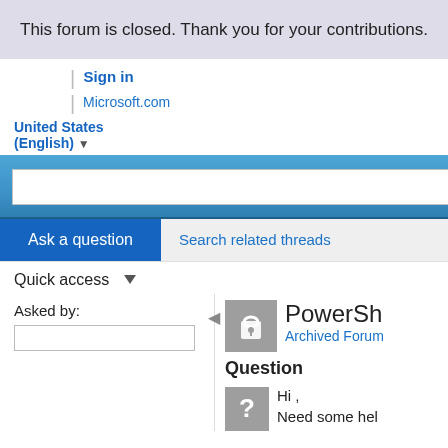This forum is closed. Thank you for your contributions.
Sign in
Microsoft.com
United States (English)
[Figure (screenshot): Bing search bar with orange search button]
Ask a question
Search related threads
Quick access
Asked by:
PowerSh
Archived Forum
Question
Hi ,
Need some hel